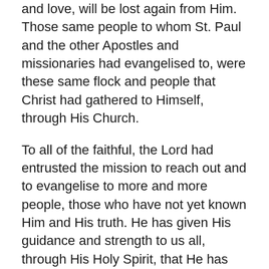and love, will be lost again from Him. Those same people to whom St. Paul and the other Apostles and missionaries had evangelised to, were these same flock and people that Christ had gathered to Himself, through His Church.
To all of the faithful, the Lord had entrusted the mission to reach out and to evangelise to more and more people, those who have not yet known Him and His truth. He has given His guidance and strength to us all, through His Holy Spirit, that He has sent and bestowed to His Apostles and disciples, and through them, through the Church, to each and every one of us, we have received this same Holy Spirit that strengthens us and gives us the courage to do what is necessary to accomplish the missions that He has given us.
We must not be afraid of the challenges and trials that we may face, as from beginning to end, what is being given...